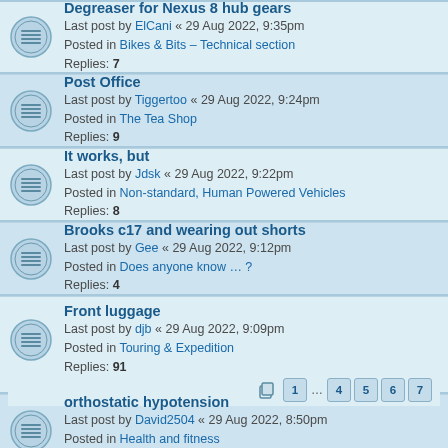Degreaser for Nexus 8 hub gears
Last post by ElCani « 29 Aug 2022, 9:35pm
Posted in Bikes & Bits – Technical section
Replies: 7
Post Office
Last post by Tiggertoo « 29 Aug 2022, 9:24pm
Posted in The Tea Shop
Replies: 9
It works, but
Last post by Jdsk « 29 Aug 2022, 9:22pm
Posted in Non-standard, Human Powered Vehicles
Replies: 8
Brooks c17 and wearing out shorts
Last post by Gee « 29 Aug 2022, 9:12pm
Posted in Does anyone know … ?
Replies: 4
Front luggage
Last post by djb « 29 Aug 2022, 9:09pm
Posted in Touring & Expedition
Replies: 91
Pages: 1 … 4 5 6 7
orthostatic hypotension
Last post by David2504 « 29 Aug 2022, 8:50pm
Posted in Health and fitness
Replies: 4